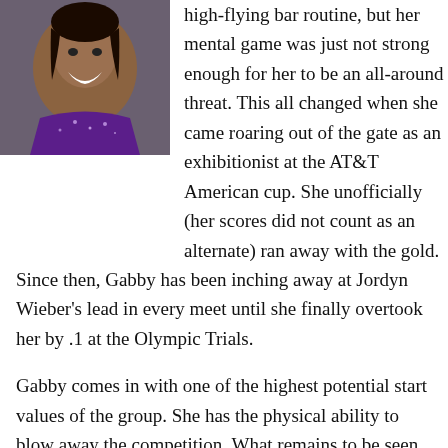[Figure (photo): A smiling gymnast wearing a purple sparkly leotard, laughing joyfully, photographed from below against a blurred crowd background.]
high-flying bar routine, but her mental game was just not strong enough for her to be an all-around threat. This all changed when she came roaring out of the gate as an exhibitionist at the AT&T American cup. She unofficially (her scores did not count as an alternate) ran away with the gold. Since then, Gabby has been inching away at Jordyn Wieber's lead in every meet until she finally overtook her by .1 at the Olympic Trials.
Gabby comes in with one of the highest potential start values of the group. She has the physical ability to blow away the competition. What remains to be seen is if she can continue improving her mental game and hit the routines when they count. She qualified in third because of a large error on floor. However, she hit four for four during team finals, and her All-Around score there would have easily won the title. If everyone brings out their best and they all hit, Gabby most likely wins. She will have to be on top of her game to come home one of the